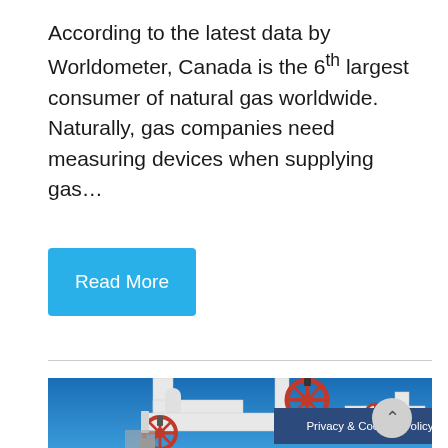According to the latest data by Worldometer, Canada is the 6th largest consumer of natural gas worldwide. Naturally, gas companies need measuring devices when supplying gas...
Read More
[Figure (photo): Industrial gas pipeline with white pipes and red valve wheels against a clear blue sky]
Privacy & Cookies Policy